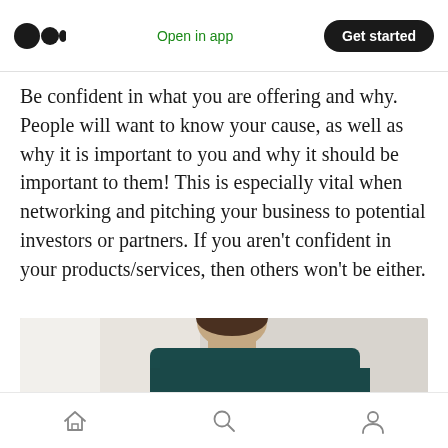Open in app | Get started
Be confident in what you are offering and why. People will want to know your cause, as well as why it is important to you and why it should be important to them! This is especially vital when networking and pitching your business to potential investors or partners. If you aren't confident in your products/services, then others won't be either.
[Figure (photo): Photo of a person from behind, showing the back of their head and shoulders, wearing a dark teal/navy top, partially cropped at the bottom of the frame.]
Home | Search | Profile